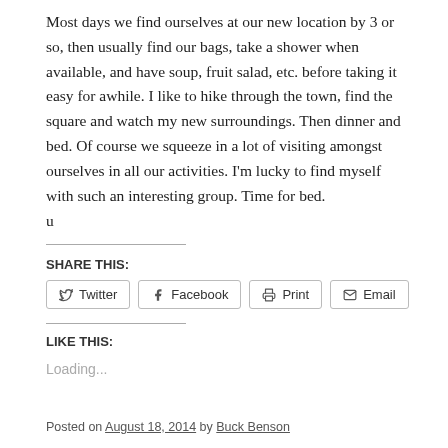Most days we find ourselves at our new location by 3 or so, then usually find our bags, take a shower when available, and have soup, fruit salad, etc. before taking it easy for awhile. I like to hike through the town, find the square and watch my new surroundings. Then dinner and bed. Of course we squeeze in a lot of visiting amongst ourselves in all our activities. I'm lucky to find myself with such an interesting group. Time for bed.
u
SHARE THIS:
Twitter | Facebook | Print | Email
LIKE THIS:
Loading...
Posted on August 18, 2014 by Buck Benson